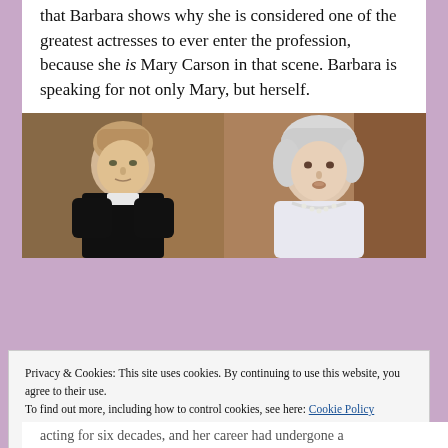that Barbara shows why she is considered one of the greatest actresses to ever enter the profession, because she is Mary Carson in that scene. Barbara is speaking for not only Mary, but herself.
[Figure (photo): Two side-by-side stills from a TV show or film: left shows a young man with light brown hair wearing a black priest collar; right shows an elderly woman with white hair wearing pearls.]
Privacy & Cookies: This site uses cookies. By continuing to use this website, you agree to their use. To find out more, including how to control cookies, see here: Cookie Policy
Close and accept
acting for six decades, and her career had undergone a